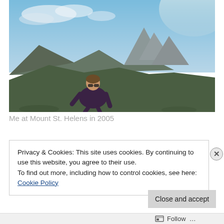[Figure (photo): Person standing on a mountain ridge with Mount St. Helens visible in the background under a blue sky with clouds.]
Me at Mount St. Helens in 2005
Privacy & Cookies: This site uses cookies. By continuing to use this website, you agree to their use.
To find out more, including how to control cookies, see here: Cookie Policy
Close and accept
Follow